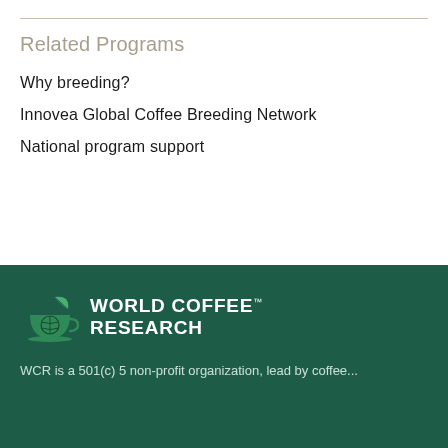Related Programs
Why breeding?
Innovea Global Coffee Breeding Network
National program support
[Figure (logo): World Coffee Research logo — green coffee cup with globe icon and leaf, white text on dark green background]
WCR is a 501(c) 5 non-profit organization, lead by coffee...